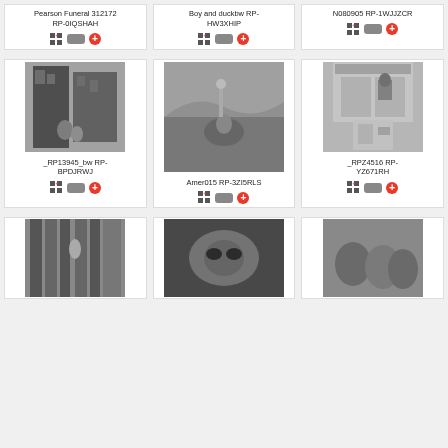Pearson Funeral 312172 RP-0IQSHAH
Boy and duckbw RP-HW3XHIP
N080905 RP-1WJJZCR
[Figure (photo): Black and white photo of a narrow European street with people walking]
_RP13945_bw RP-BPDJRWJ
[Figure (photo): Black and white photo of a person in a hat lying in a field with mountains in background]
Amer015 RP-3ZI5RLS
[Figure (photo): Black and white photo of a building facade with a person at a window and laundry hanging]
_RPZ4516 RP-YZ671RH
[Figure (photo): Black and white photo of a narrow alley with buildings]
[Figure (photo): Black and white close-up photo]
[Figure (photo): Black and white photo of people]